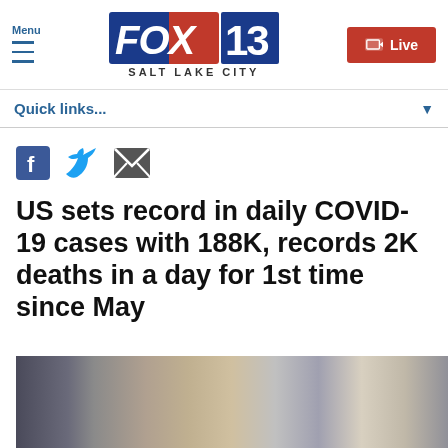FOX 13 SALT LAKE CITY — Menu / Live
Quick links...
[Figure (other): Social share icons: Facebook, Twitter, Email]
US sets record in daily COVID-19 cases with 188K, records 2K deaths in a day for 1st time since May
[Figure (photo): Medical workers in a hospital setting, partially visible at bottom of page]